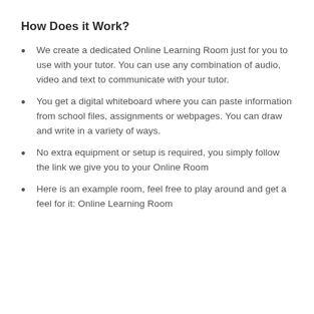How Does it Work?
We create a dedicated Online Learning Room just for you to use with your tutor. You can use any combination of audio, video and text to communicate with your tutor.
You get a digital whiteboard where you can paste information from school files, assignments or webpages. You can draw and write in a variety of ways.
No extra equipment or setup is required, you simply follow the link we give you to your Online Room
Here is an example room, feel free to play around and get a feel for it: Online Learning Room